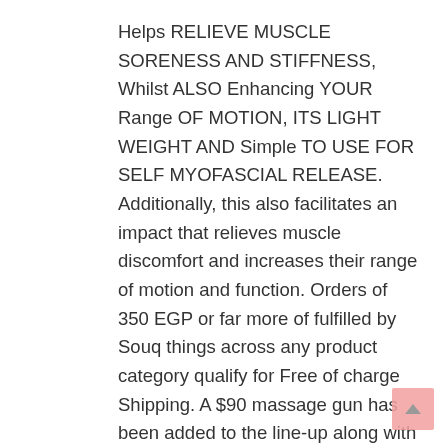Helps RELIEVE MUSCLE SORENESS AND STIFFNESS, Whilst ALSO Enhancing YOUR Range OF MOTION, ITS LIGHT WEIGHT AND Simple TO USE FOR SELF MYOFASCIAL RELEASE. Additionally, this also facilitates an impact that relieves muscle discomfort and increases their range of motion and function. Orders of 350 EGP or far more of fulfilled by Souq things across any product category qualify for Free of charge Shipping. A $90 massage gun has been added to the line-up along with the hugely well-liked fitness center tights and a range of fitness gear which is ideal for those who are nonetheless in lockdown. The basic idea behind how the Theragun operates is by means of the use of percussive therapy The vibration and force